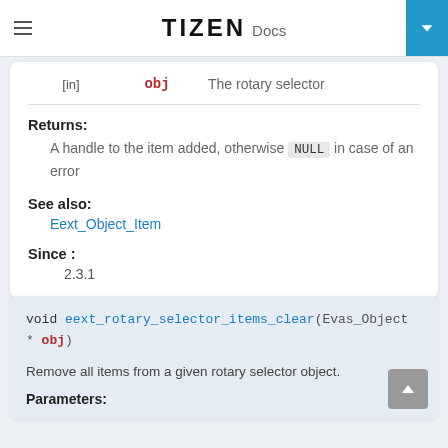TIZEN Docs
|  | name | description |
| --- | --- | --- |
| [in] | obj | The rotary selector |
Returns:
A handle to the item added, otherwise NULL in case of an error
See also:
Eext_Object_Item
Since :
2.3.1
void eext_rotary_selector_items_clear(Evas_Object * obj)
Remove all items from a given rotary selector object.
Parameters: